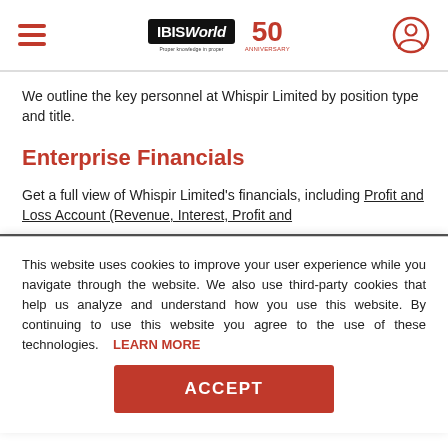IBISWorld 50th Anniversary
We outline the key personnel at Whispir Limited by position type and title.
Enterprise Financials
Get a full view of Whispir Limited's financials, including Profit and Loss Account (Revenue, Interest, Profit and
This website uses cookies to improve your user experience while you navigate through the website. We also use third-party cookies that help us analyze and understand how you use this website. By continuing to use this website you agree to the use of these technologies. LEARN MORE
ACCEPT